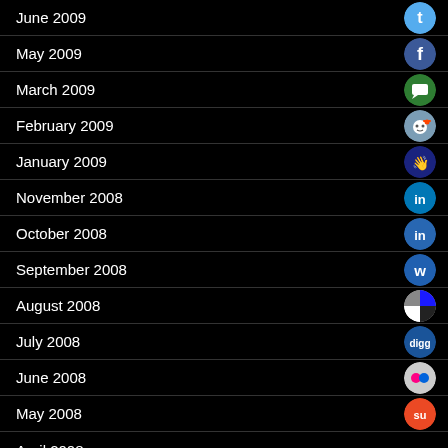June 2009
May 2009
March 2009
February 2009
January 2009
November 2008
October 2008
September 2008
August 2008
July 2008
June 2008
May 2008
April 2008